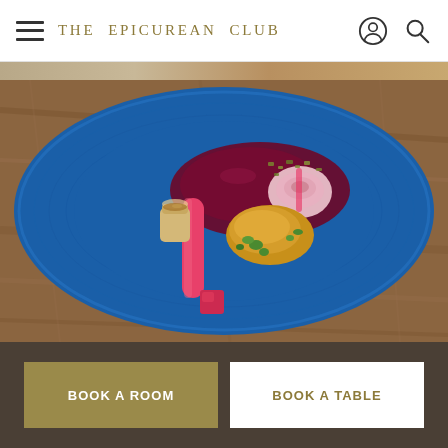THE EPICUREAN CLUB
[Figure (photo): Partial cropped food image strip at top of scroll area]
[Figure (photo): Overhead shot of an artistically plated dish on a blue ceramic plate: rhubarb stalks, a dark berry sauce, a golden-fried dumpling or croquette, garnished with fresh herbs and a small toasted shot glass, presented on a wooden surface.]
BOOK A ROOM
BOOK A TABLE